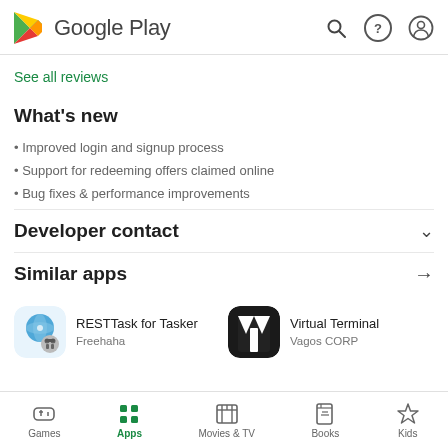Google Play
See all reviews
What's new
• Improved login and signup process
• Support for redeeming offers claimed online
• Bug fixes & performance improvements
Developer contact
Similar apps
RESTTask for Tasker
Freehaha
Virtual Terminal
Vagos CORP
Games | Apps | Movies & TV | Books | Kids